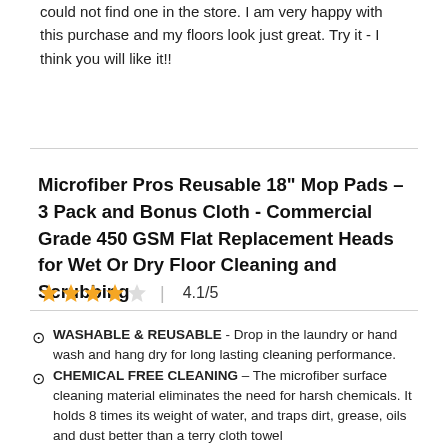could not find one in the store. I am very happy with this purchase and my floors look just great. Try it - I think you will like it!!
Microfiber Pros Reusable 18" Mop Pads – 3 Pack and Bonus Cloth - Commercial Grade 450 GSM Flat Replacement Heads for Wet Or Dry Floor Cleaning and Scrubbing
4.1/5
WASHABLE & REUSABLE - Drop in the laundry or hand wash and hang dry for long lasting cleaning performance.
CHEMICAL FREE CLEANING – The microfiber surface cleaning material eliminates the need for harsh chemicals. It holds 8 times its weight of water, and traps dirt, grease, oils and dust better than a terry cloth towel
TOP GRADE GENUINE MICROFIBER - We use only high